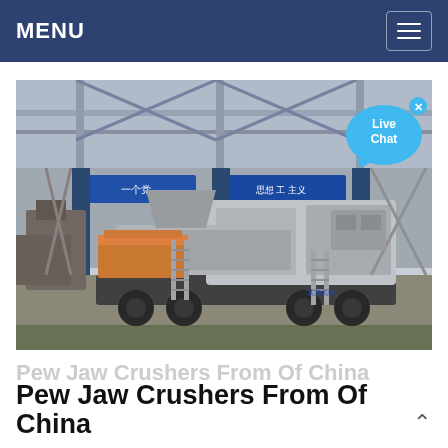MENU
[Figure (photo): A mobile jaw crusher machine on a wheeled trailer displayed inside a large industrial factory/warehouse. The factory has high ceilings with structural beams, blue signage banners in Chinese, and various heavy machinery components visible in the background. A 'Live Chat' speech bubble overlay appears in the upper right of the image.]
Pew Jaw Crushers From Of China